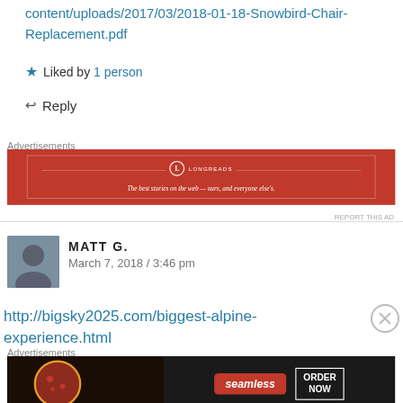content/uploads/2017/03/2018-01-18-Snowbird-Chair-Replacement.pdf
★ Liked by 1 person
↩ Reply
Advertisements
[Figure (infographic): Longreads advertisement: red background with white border, logo and tagline 'The best stories on the web — ours, and everyone else's.']
REPORT THIS AD
MATT G.
March 7, 2018 / 3:46 pm
http://bigsky2025.com/biggest-alpine-experience.html
Advertisements
[Figure (infographic): Seamless food delivery advertisement: pizza image on dark background, Seamless logo in red, ORDER NOW button in white border.]